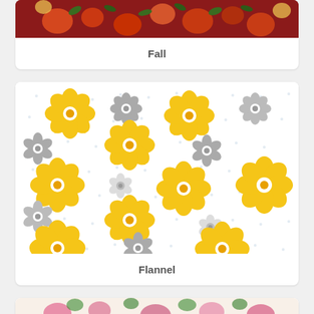[Figure (illustration): Partial view of a fabric swatch with red background featuring fruits and leaves pattern (Fall fabric). Only the image portion is visible, cropped at top.]
Fall
[Figure (illustration): Fabric swatch showing a white background with yellow/golden daisy flowers and gray/white smaller daisy flowers scattered across, with small blue polka dots. This is a flannel fabric pattern.]
Flannel
[Figure (illustration): Partial view of a fabric swatch showing floral pattern at bottom of page, cut off.]